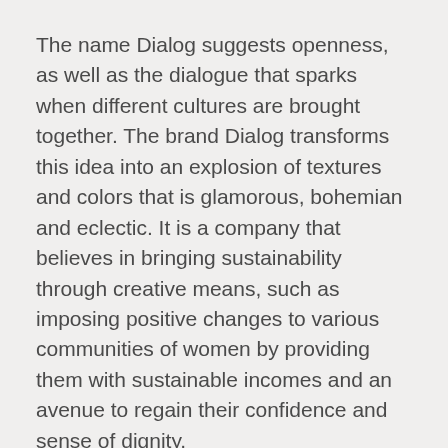The name Dialog suggests openness, as well as the dialogue that sparks when different cultures are brought together. The brand Dialog transforms this idea into an explosion of textures and colors that is glamorous, bohemian and eclectic. It is a company that believes in bringing sustainability through creative means, such as imposing positive changes to various communities of women by providing them with sustainable incomes and an avenue to regain their confidence and sense of dignity.
The easily-learned origami trimmings, Dialog's signature trim, not only serve as a means of generating income, but the incorporated fabrics also hold local cultural significance that reflect a colorful visual narrative of the lives involved. Dialog London also carries bag styles showcasing bright and colorful hand-woven cottons from tsunami regeneration projects in Thailand, rich embroideries from Vietnam, intricate cross-